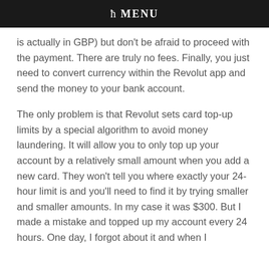ħ MENU
is actually in GBP) but don't be afraid to proceed with the payment. There are truly no fees. Finally, you just need to convert currency within the Revolut app and send the money to your bank account.
The only problem is that Revolut sets card top-up limits by a special algorithm to avoid money laundering. It will allow you to only top up your account by a relatively small amount when you add a new card. They won't tell you where exactly your 24-hour limit is and you'll need to find it by trying smaller and smaller amounts. In my case it was $300. But I made a mistake and topped up my account every 24 hours. One day, I forgot about it and when I